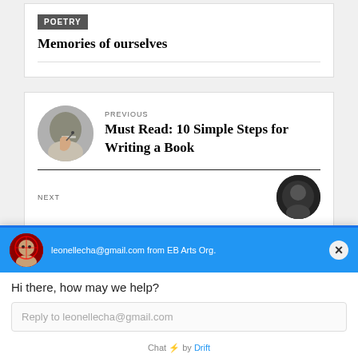POETRY
Memories of ourselves
[Figure (photo): Circular thumbnail of a hand writing with a pen on paper]
PREVIOUS
Must Read: 10 Simple Steps for Writing a Book
NEXT
[Figure (photo): Chat popup from Drift showing user avatar and email leonellecha@gmail.com from EB Arts Org, with greeting 'Hi there, how may we help?' and reply input field]
leonellecha@gmail.com from EB Arts Org.
Hi there, how may we help?
Reply to leonellecha@gmail.com
Chat ⚡ by Drift